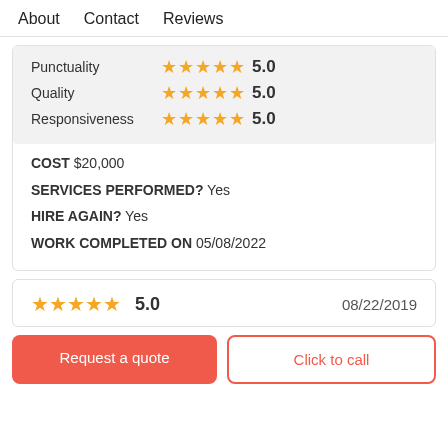About   Contact   Reviews
| Category | Stars | Score |
| --- | --- | --- |
| Punctuality | ★★★★★ | 5.0 |
| Quality | ★★★★★ | 5.0 |
| Responsiveness | ★★★★★ | 5.0 |
COST $20,000
SERVICES PERFORMED? Yes
HIRE AGAIN? Yes
WORK COMPLETED ON 05/08/2022
[Figure (other): 5-star rating card showing 5.0 stars and date 08/22/2019]
Request a quote
Click to call